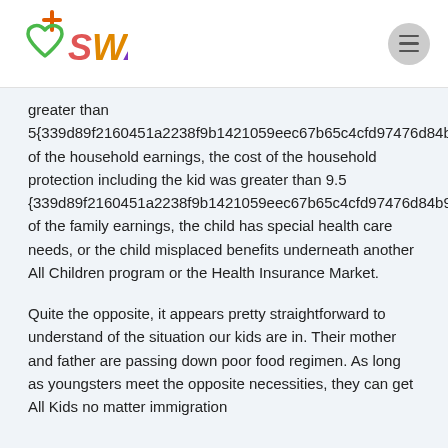SWA logo and navigation
greater than 5{339d89f2160451a2238f9b1421059eec67b65c4cfd97476d84b976b545b49168} of the household earnings, the cost of the household protection including the kid was greater than 9.5 {339d89f2160451a2238f9b1421059eec67b65c4cfd97476d84b976b545b49168} of the family earnings, the child has special health care needs, or the child misplaced benefits underneath another All Children program or the Health Insurance Market.
Quite the opposite, it appears pretty straightforward to understand of the situation our kids are in. Their mother and father are passing down poor food regimen. As long as youngsters meet the opposite necessities, they can get All Kids no matter immigration